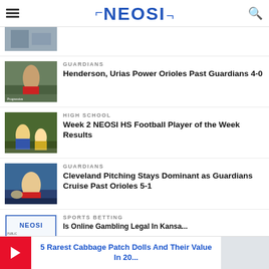NEOSI
[Figure (photo): Partial cropped sports photo at top of list]
GUARDIANS
Henderson, Urias Power Orioles Past Guardians 4-0
[Figure (photo): Baseball player on field, crowd in background]
HIGH SCHOOL
Week 2 NEOSI HS Football Player of the Week Results
[Figure (photo): High school football game action shot]
GUARDIANS
Cleveland Pitching Stays Dominant as Guardians Cruise Past Orioles 5-1
[Figure (photo): Baseball sliding play at base]
SPORTS BETTING
Is Online Gambling Legal In Kansas...
[Figure (photo): NEOSI logo thumbnail]
5 Rarest Cabbage Patch Dolls And Their Value In 20...